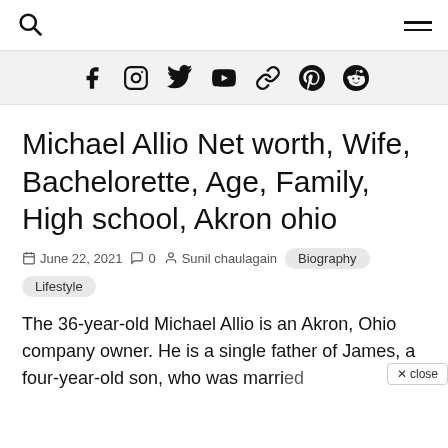Search | Menu
[Figure (other): Social media icons row: Facebook, Instagram, Twitter, YouTube, Link, Pinterest, Reddit]
Michael Allio Net worth, Wife, Bachelorette, Age, Family, High school, Akron ohio
June 22, 2021  0  Sunil chaulagain  Biography  Lifestyle
The 36-year-old Michael Allio is an Akron, Ohio company owner. He is a single father of James, a four-year-old son, who was married